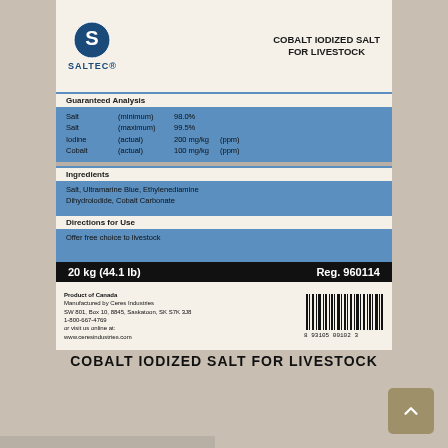[Figure (photo): Photo of a Saltec Cobalt Iodized Salt for Livestock bag label. The label shows: Guaranteed Analysis (Salt minimum 98.0%, Salt maximum 99.5%, Iodine actual 200 mg/kg ppm, Cobalt actual 100 mg/kg ppm), Ingredients (Salt, Ultramarine Blue, Ethylenediamine Dihydroiodide, Cobalt Carbonate), Directions for Use (Offer free choice to livestock), weight 20 kg (44.1 lb), Reg. 960114, Product of Canada, Manufactured by Ceres Industries, 1-800-667-4769, www.ceresindustries.com, barcode 8 93105 00102 3.]
COBALT IODIZED SALT FOR LIVESTOCK